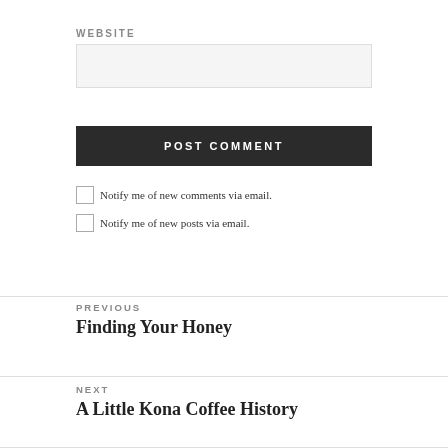WEBSITE
[Figure (other): Website input text field (empty, light gray background)]
POST COMMENT
Notify me of new comments via email.
Notify me of new posts via email.
PREVIOUS
Finding Your Honey
NEXT
A Little Kona Coffee History